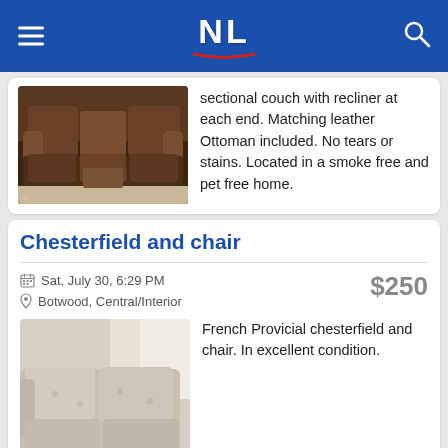NL
[Figure (photo): Dark brown leather reclining sectional couch]
sectional couch with recliner at each end. Matching leather Ottoman included. No tears or stains. Located in a smoke free and pet free home.
Chesterfield and chair
Sat, July 30, 6:29 PM
Botwood, Central/Interior
$250
[Figure (photo): French Provincial chesterfield (sofa) and chair in light beige/cream fabric, in excellent condition]
French Provicial chesterfield and chair. In excellent condition.
Decorative Table - Reduced